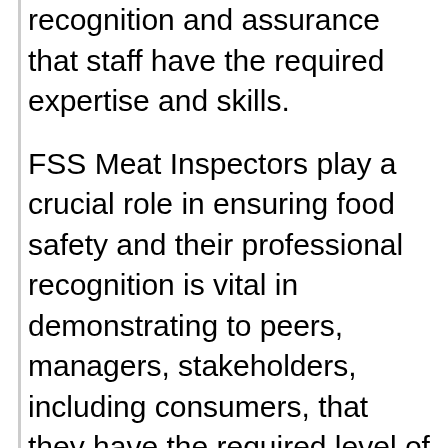recognition and assurance that staff have the required expertise and skills.
FSS Meat Inspectors play a crucial role in ensuring food safety and their professional recognition is vital in demonstrating to peers, managers, stakeholders, including consumers, that they have the required level of competence for the work they perform and are committed to complying with IFST's Code of Professional Conduct. Furthermore, members